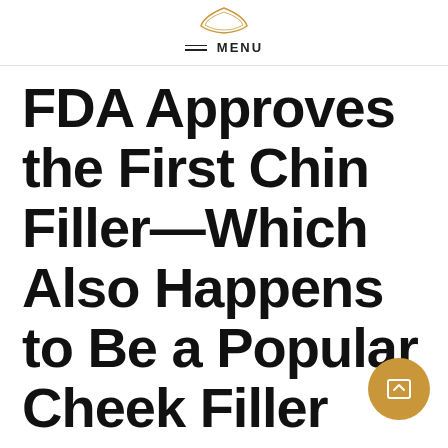MENU
FDA Approves the First Chin Filler—Which Also Happens to Be a Popular Cheek Filler